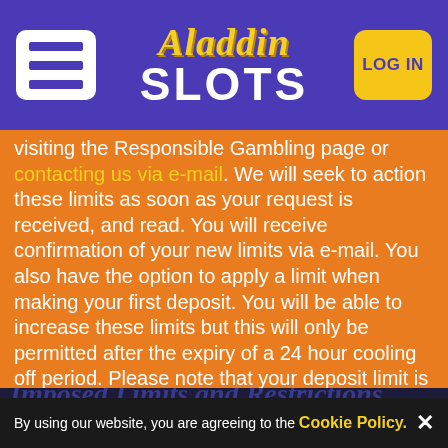[Figure (logo): Aladdin Slots casino logo with menu hamburger icon on left and LOG IN button on right, on purple background]
visiting the Responsible Gambling page or contacting us via e-mail. We will seek to action these limits as soon as your request is received, and read. You will receive confirmation of your new limits via e-mail. You also have the option to apply a limit when making your first deposit. You will be able to increase these limits but this will only be permitted after the expiry of a 24 hour cooling off period. Please note that your deposit limit is applied at an account level - on this specific Website only. It will not be applied to any other accounts you hold which are owned/operated by us. To apply limits on your other accounts, please either visit the specific website or contact our support team.
Imposed Limits and Restrictions
By using our website, you are agreeing to the Cookie Policy.